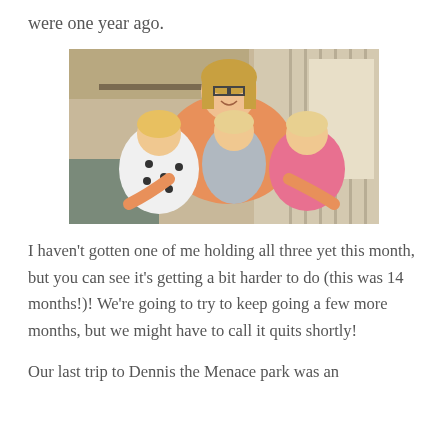were one year ago.
[Figure (photo): A woman with glasses wearing a pink tank top holding three toddlers/babies, two on her left and one on her right, in a home setting with blinds visible in the background.]
I haven't gotten one of me holding all three yet this month, but you can see it's getting a bit harder to do (this was 14 months!)! We're going to try to keep going a few more months, but we might have to call it quits shortly!
Our last trip to Dennis the Menace park was an